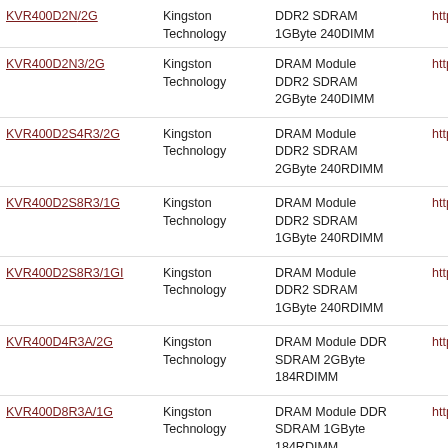| Product | Manufacturer | Description | URL |
| --- | --- | --- | --- |
| KVR400D2N3/2G | Kingston Technology | DRAM Module DDR2 SDRAM 2GByte 240DIMM | http://w |
| KVR400D2S4R3/2G | Kingston Technology | DRAM Module DDR2 SDRAM 2GByte 240RDIMM | http://w |
| KVR400D2S8R3/1G | Kingston Technology | DRAM Module DDR2 SDRAM 1GByte 240RDIMM | http://w |
| KVR400D2S8R3/1GI | Kingston Technology | DRAM Module DDR2 SDRAM 1GByte 240RDIMM | http://w |
| KVR400D4R3A/2G | Kingston Technology | DRAM Module DDR SDRAM 2GByte 184RDIMM | http://w |
| KVR400D8R3A/1G | Kingston Technology | DRAM Module DDR SDRAM 1GByte 184RDIMM | http://w |
| KVR400D8R3A/1GBK | Kingston Technology | DRAM Module DDR SDRAM 1GByte 184RDIMM Bulk | http://w |
| KVR400S4R3A/1G | Kingston Technology | DRAM Module DDR SDRAM 1GByte 184RDIMM | http://w |
| KVR400S8R3A/512 | Kingston Technology | DRAM Module DDR SDRAM 512MByte 184RDIMM | http://w |
| (partial) | Kingston | DRAM Module DDR |  |